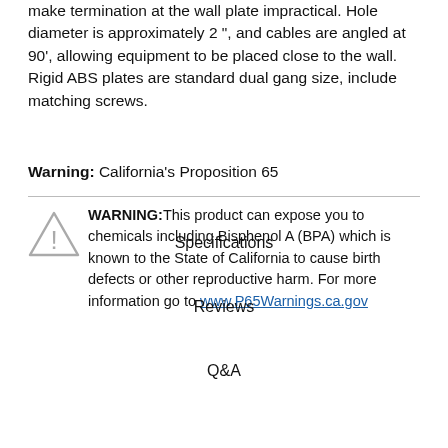make termination at the wall plate impractical. Hole diameter is approximately 2 ", and cables are angled at 90', allowing equipment to be placed close to the wall. Rigid ABS plates are standard dual gang size, include matching screws.
Warning: California's Proposition 65
WARNING: This product can expose you to chemicals including Bisphenol A (BPA) which is known to the State of California to cause birth defects or other reproductive harm. For more information go to www.P65Warnings.ca.gov
Specifications
Reviews
Q&A